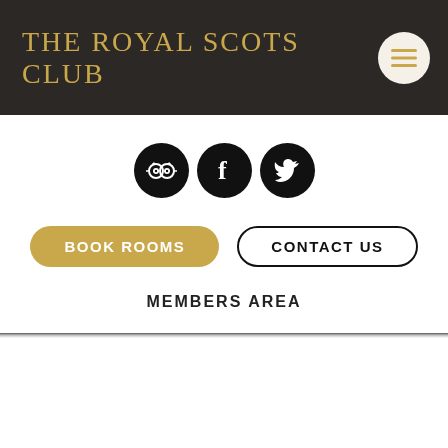THE ROYAL SCOTS CLUB
[Figure (logo): Three social media icons (TripAdvisor, Facebook, Twitter) as white icons on black circles]
BOOK ROOMS
CONTACT US
MEMBERS AREA